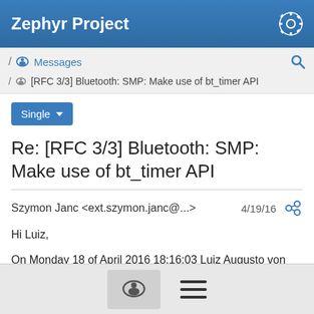Zephyr Project
/ Messages
/ [RFC 3/3] Bluetooth: SMP: Make use of bt_timer API
Single
Re: [RFC 3/3] Bluetooth: SMP: Make use of bt_timer API
Szymon Janc <ext.szymon.janc@...>   4/19/16
Hi Luiz,
On Monday 18 of April 2016 18:16:03 Luiz Augusto von Dentz wrote: